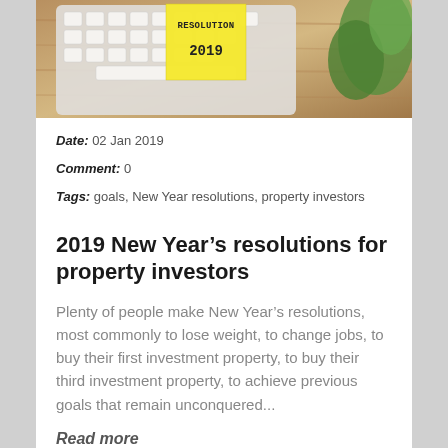[Figure (photo): Photo of a computer keyboard on a wooden desk with a yellow sticky note reading 'RESOLUTION 2019' and a green plant in the background.]
Date:  02 Jan 2019
Comment:  0
Tags:  goals, New Year resolutions, property investors
2019 New Year’s resolutions for property investors
Plenty of people make New Year’s resolutions, most commonly to lose weight, to change jobs, to buy their first investment property, to buy their third investment property, to achieve previous goals that remain unconquered...
Read more